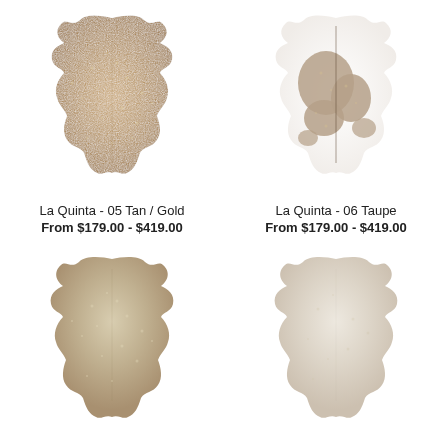[Figure (photo): Cowhide rug, tan/gold color, La Quinta style]
[Figure (photo): Cowhide rug, taupe/white spotted color, La Quinta style]
La Quinta - 05 Tan / Gold
From $179.00 - $419.00
La Quinta - 06 Taupe
From $179.00 - $419.00
[Figure (photo): Cowhide rug, silver/champagne color, La Quinta style]
[Figure (photo): Cowhide rug, off-white/cream color, La Quinta style]